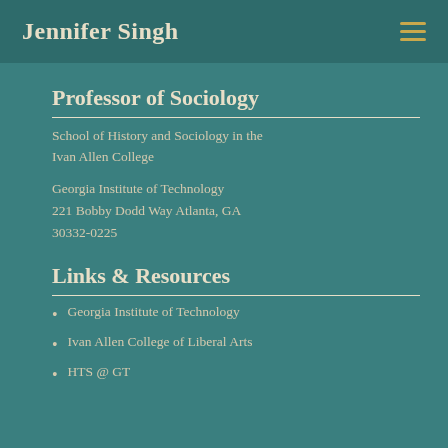Jennifer Singh
Professor of Sociology
School of History and Sociology in the Ivan Allen College
Georgia Institute of Technology
221 Bobby Dodd Way Atlanta, GA 30332-0225
Links & Resources
Georgia Institute of Technology
Ivan Allen College of Liberal Arts
HTS @ GT